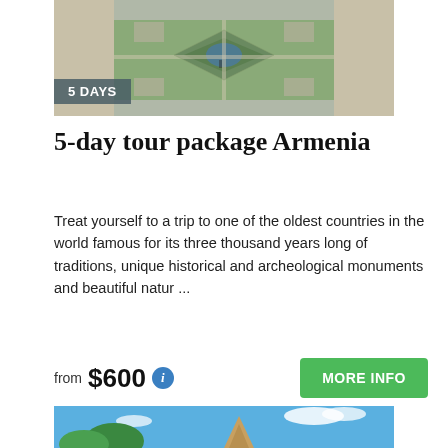[Figure (photo): Aerial view of an Armenian architectural complex with geometric garden patterns, stone walls and a central courtyard, with '5 DAYS' badge overlay]
5-day tour package Armenia
Treat yourself to a trip to one of the oldest countries in the world famous for its three thousand years long of traditions, unique historical and archeological monuments and beautiful natur ...
from $600  MORE INFO
[Figure (photo): Partial view of an Armenian church or monument with trees and blue sky, bottom of page]